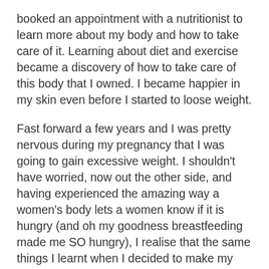booked an appointment with a nutritionist to learn more about my body and how to take care of it. Learning about diet and exercise became a discovery of how to take care of this body that I owned. I became happier in my skin even before I started to loose weight.
Fast forward a few years and I was pretty nervous during my pregnancy that I was going to gain excessive weight. I shouldn't have worried, now out the other side, and having experienced the amazing way a women's body lets a women know if it is hungry (and oh my goodness breastfeeding made me SO hungry), I realise that the same things I learnt when I decided to make my body my possession, would have easily guided me through pregnancy.
Over the years I have learnt to: